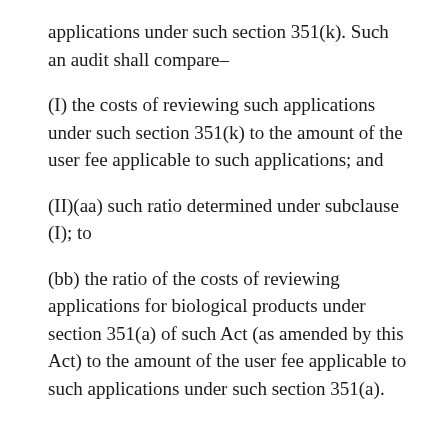applications under such section 351(k). Such an audit shall compare–
(I) the costs of reviewing such applications under such section 351(k) to the amount of the user fee applicable to such applications; and
(II)(aa) such ratio determined under subclause (I); to
(bb) the ratio of the costs of reviewing applications for biological products under section 351(a) of such Act (as amended by this Act) to the amount of the user fee applicable to such applications under such section 351(a).